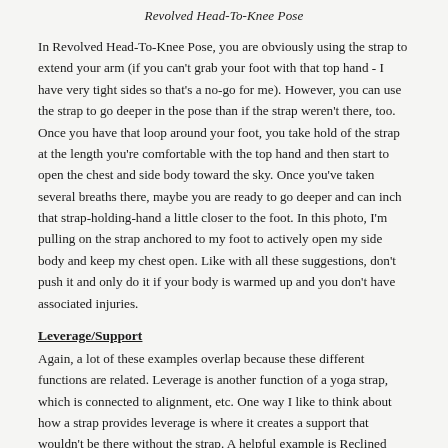Revolved Head-To-Knee Pose
In Revolved Head-To-Knee Pose, you are obviously using the strap to extend your arm (if you can't grab your foot with that top hand - I have very tight sides so that's a no-go for me). However, you can use the strap to go deeper in the pose than if the strap weren't there, too. Once you have that loop around your foot, you take hold of the strap at the length you're comfortable with the top hand and then start to open the chest and side body toward the sky. Once you've taken several breaths there, maybe you are ready to go deeper and can inch that strap-holding-hand a little closer to the foot. In this photo, I'm pulling on the strap anchored to my foot to actively open my side body and keep my chest open. Like with all these suggestions, don't push it and only do it if your body is warmed up and you don't have associated injuries.
Leverage/Support
Again, a lot of these examples overlap because these different functions are related. Leverage is another function of a yoga strap, which is connected to alignment, etc. One way I like to think about how a strap provides leverage is where it creates a support that wouldn't be there without the strap. A helpful example is Reclined Head to Big Toe Pose. If